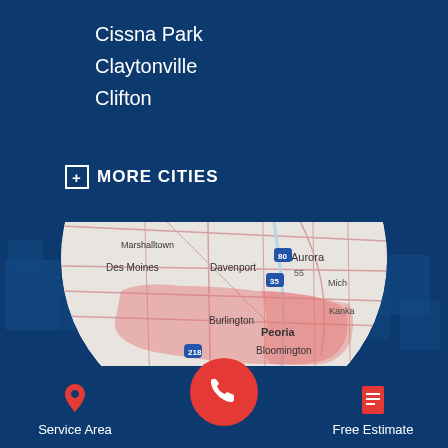Cissna Park
Claytonville
Clifton
+ MORE CITIES
[Figure (map): Circular map showing Midwest US service area with cities including Waterloo, Dubuque, Rockford, Cedar Rapids, Aurora, Des Moines, Davenport, Peoria, Bloomington, Burlington, Marshalltown. Service area highlighted in pink/red overlay. Background shows US map silhouette.]
Service Area
Free Estimate